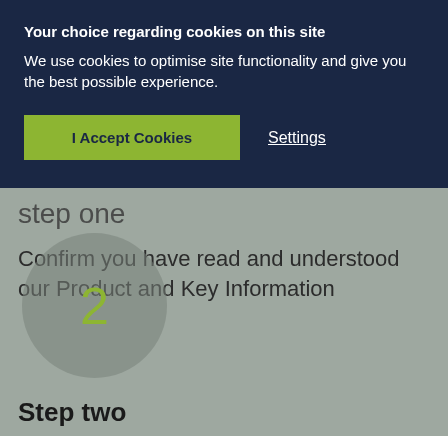Your choice regarding cookies on this site
We use cookies to optimise site functionality and give you the best possible experience.
I Accept Cookies
Settings
Step one
Confirm you have read and understood our Product and Key Information
2
Step two